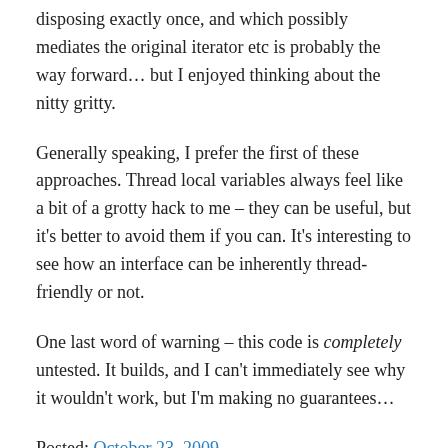disposing exactly once, and which possibly mediates the original iterator etc is probably the way forward… but I enjoyed thinking about the nitty gritty.
Generally speaking, I prefer the first of these approaches. Thread local variables always feel like a bit of a grotty hack to me – they can be useful, but it's better to avoid them if you can. It's interesting to see how an interface can be inherently thread-friendly or not.
One last word of warning – this code is completely untested. It builds, and I can't immediately see why it wouldn't work, but I'm making no guarantees…
Posted: October 23, 2009.
Posted in: C#, Parallelization, Stack Overflow